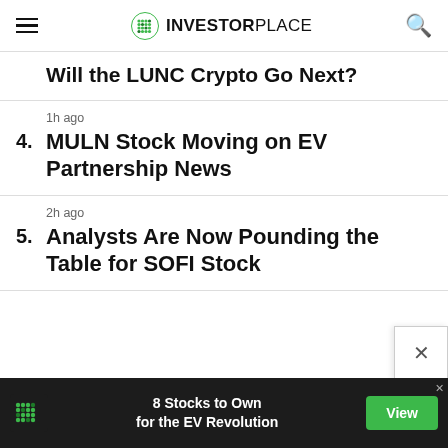INVESTORPLACE
Will the LUNC Crypto Go Next?
1h ago
4. MULN Stock Moving on EV Partnership News
2h ago
5. Analysts Are Now Pounding the Table for SOFI Stock
[Figure (screenshot): Advertisement banner: 8 Stocks to Own for the EV Revolution with View button and InvestorPlace logo]